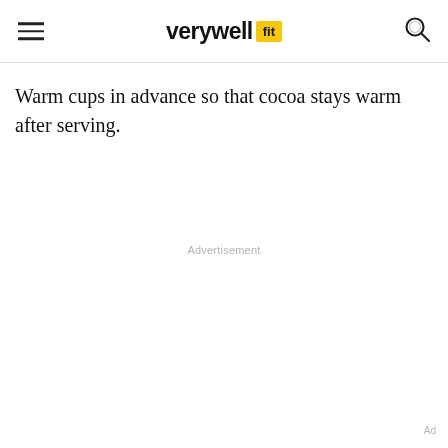verywell fit
Warm cups in advance so that cocoa stays warm after serving.
Advertisement
Ad